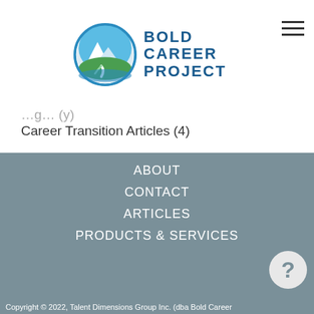[Figure (logo): Bold Career Project logo with mountain/river circular icon and bold text]
Career Transition Articles (4)
Personal Development Articles (2)
Personal Branding Articles (1)
Career Development Articles (1)
ABOUT
CONTACT
ARTICLES
PRODUCTS & SERVICES
Copyright © 2022, Talent Dimensions Group Inc. (dba Bold Career